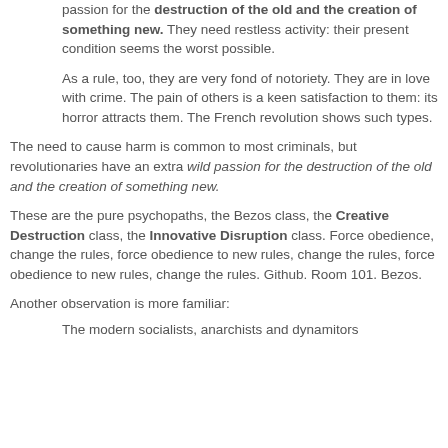passion for the destruction of the old and the creation of something new. They need restless activity: their present condition seems the worst possible.
As a rule, too, they are very fond of notoriety. They are in love with crime. The pain of others is a keen satisfaction to them: its horror attracts them. The French revolution shows such types.
The need to cause harm is common to most criminals, but revolutionaries have an extra wild passion for the destruction of the old and the creation of something new.
These are the pure psychopaths, the Bezos class, the Creative Destruction class, the Innovative Disruption class. Force obedience, change the rules, force obedience to new rules, change the rules, force obedience to new rules, change the rules. Github. Room 101. Bezos.
Another observation is more familiar:
The modern socialists, anarchists and dynamitors